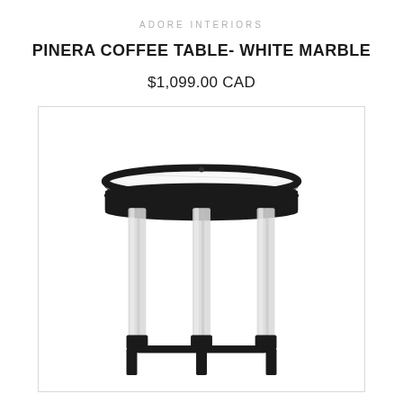ADORE INTERIORS
PINERA COFFEE TABLE- WHITE MARBLE
$1,099.00 CAD
[Figure (photo): A tall narrow round side/coffee table with a white marble top, black metal rim and frame, and clear acrylic/lucite legs, photographed on white background]